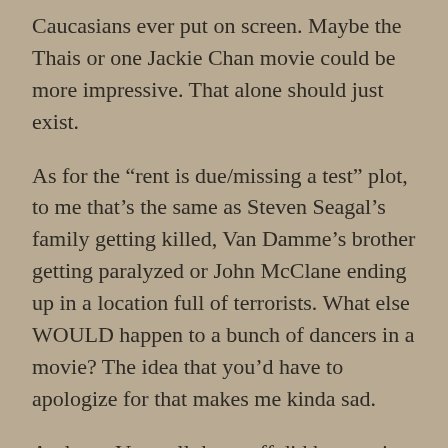Caucasians ever put on screen. Maybe the Thais or one Jackie Chan movie could be more impressive. That alone should just exist.
As for the “rent is due/missing a test” plot, to me that’s the same as Steven Seagal’s family getting killed, Van Damme’s brother getting paralyzed or John McClane ending up in a location full of terrorists. What else WOULD happen to a bunch of dancers in a movie? The idea that you’d have to apologize for that makes me kinda sad.
And yes, Vern, all that stuff did happen in 3D. I can’t even see 3D but I could tell it was extending from the plane of the screen.